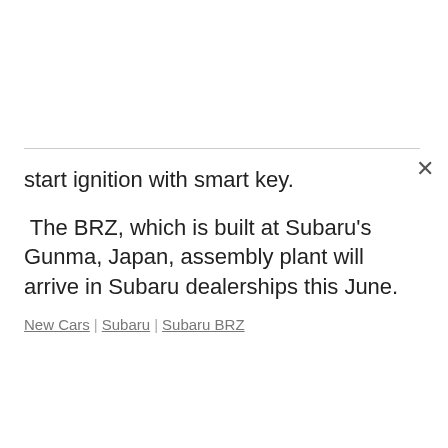start ignition with smart key.
The BRZ, which is built at Subaru's Gunma, Japan, assembly plant will arrive in Subaru dealerships this June.
New Cars | Subaru | Subaru BRZ